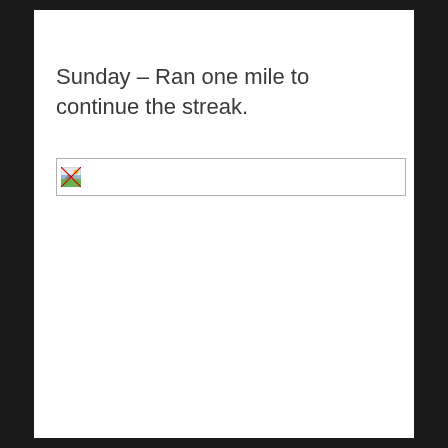Sunday – Ran one mile to continue the streak.
[Figure (photo): Broken image placeholder with small landscape thumbnail icon]